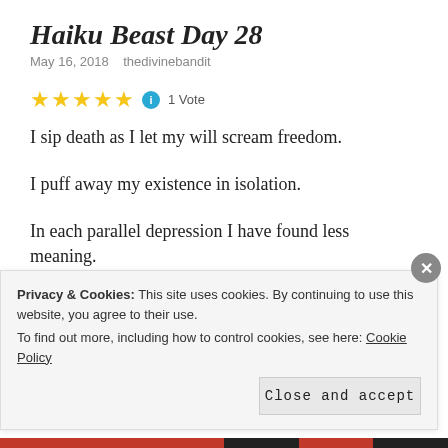Haiku Beast Day 28
May 16, 2018   thedivinebandit
[Figure (other): Five gold stars rating with info icon and '1 Vote' label]
I sip death as I let my will scream freedom.
I puff away my existence in isolation.
In each parallel depression I have found less meaning.
Tagged life, overs, the divine bandit is human
Privacy & Cookies: This site uses cookies. By continuing to use this website, you agree to their use.
To find out more, including how to control cookies, see here: Cookie Policy
Close and accept